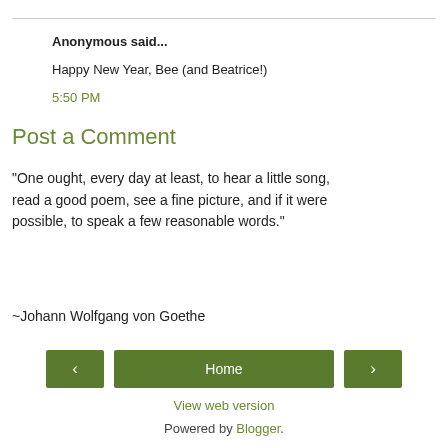Anonymous said...
Happy New Year, Bee (and Beatrice!)
5:50 PM
Post a Comment
"One ought, every day at least, to hear a little song, read a good poem, see a fine picture, and if it were possible, to speak a few reasonable words."
~Johann Wolfgang von Goethe
< Home >
View web version
Powered by Blogger.